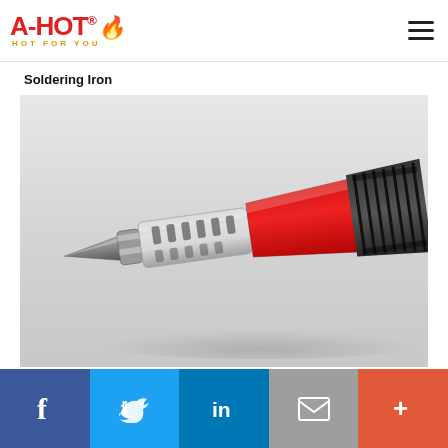[Figure (logo): A-HOT brand logo with red A-HOT text, flame graphic, and 'HOT FOR YOU' tagline in yellow/gold]
Soldering Iron
[Figure (photo): Close-up photograph of a gas-powered soldering iron tip showing chrome/metal needle tip, metal barrel with ventilation slots, and red/black handle grip]
[Figure (infographic): Social media sharing bar with Facebook, Twitter, LinkedIn, Email, and More (+) buttons]